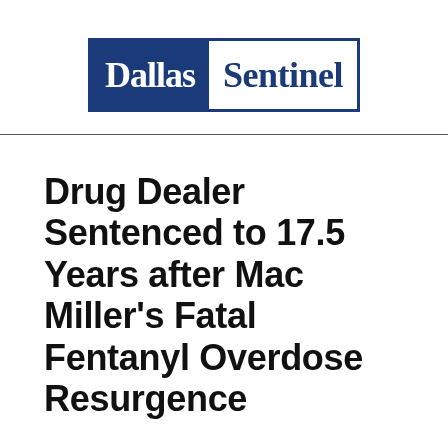[Figure (logo): Dallas Sentinel newspaper logo — blue rectangle on left with 'Dallas' in white old-English serif font, white rectangle on right with 'Sentinel' in blue serif font, both enclosed in a blue border]
Drug Dealer Sentenced to 17.5 Years after Mac Miller's Fatal Fentanyl Overdose Resurgence